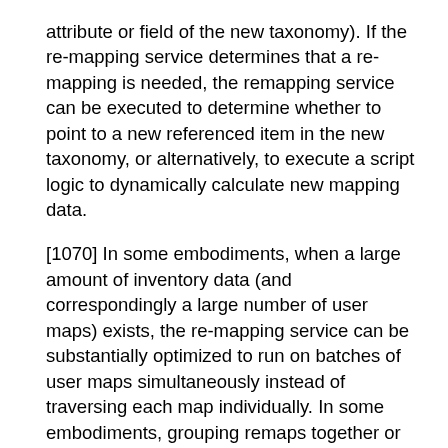attribute or field of the new taxonomy). If the re-mapping service determines that a re-mapping is needed, the remapping service can be executed to determine whether to point to a new referenced item in the new taxonomy, or alternatively, to execute a script logic to dynamically calculate new mapping data.
[1070] In some embodiments, when a large amount of inventory data (and correspondingly a large number of user maps) exists, the re -mapping service can be substantially optimized to run on batches of user maps simultaneously instead of traversing each map individually. In some embodiments, grouping remaps together or running multiple batches of user maps in parallel can substantially minimize any potential downtime a user would have from selling live product items on a marketplace.
[1071] In some embodiments, the re -mapping service can be executed in background before a change in the taxonomy is made. For example, a marketplace can give a notice several weeks in advance that a change of taxonomy is imminent, and then the re -mapping service can be executed before the change is made live on the marketplace. In some embodiments, the execution of the